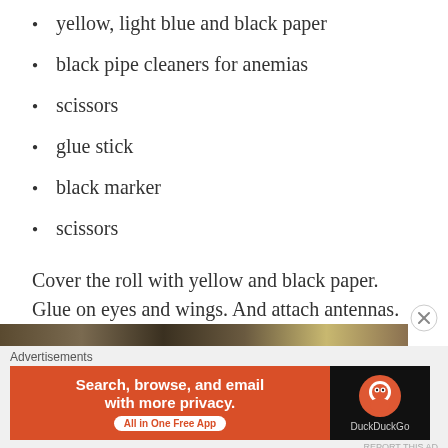yellow, light blue and black paper
black pipe cleaners for anemias
scissors
glue stick
black marker
scissors
Cover the roll with yellow and black paper. Glue on eyes and wings. And attach antennas.
Paper Plate Bee
[Figure (photo): Partial image strip of a paper plate bee craft, shown at bottom of page before advertisement overlay]
Advertisements — Search, browse, and email with more privacy. All in One Free App — DuckDuckGo